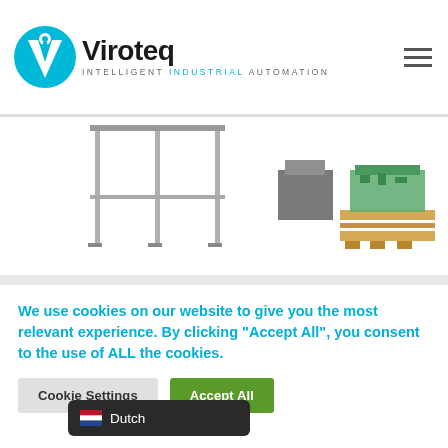Viroteq — Intelligent Industrial Automation
[Figure (photo): Industrial automation equipment — metal frame structures and palletizing systems on white background]
We use cookies on our website to give you the most relevant experience. By clicking "Accept All", you consent to the use of ALL the cookies.
Cookie Settings | Accept All
Dutch